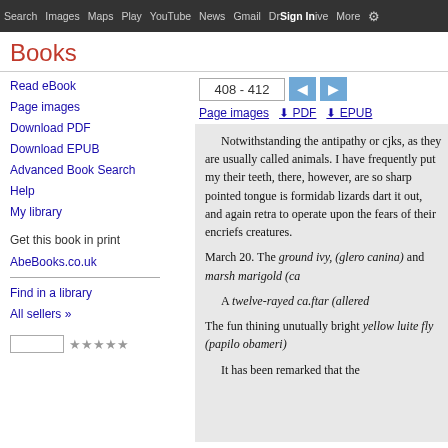Search  Images  Maps  Play  YouTube  News  Gmail  Drive  More  Sign in
Books
Read eBook
Page images
Download PDF
Download EPUB
Advanced Book Search
Help
My library
Get this book in print
AbeBooks.co.uk
Find in a library
All sellers »
408 - 412
Page images  ⬇ PDF  ⬇ EPUB
Notwithstanding the antipathy or cjks, as they are usually called animals. I have frequently put my their teeth, there, however, are so sharp pointed tongue is formidable lizards dart it out, and again retra to operate upon the fears of their encriefs creatures.

March 20. The ground ivy, (glero canina) and marsh marigold (ca

A twelve-rayed ca.ftar (allered

The fun thining unutually bright yellow luite fly (papilo obameri)

It has been remarked that the